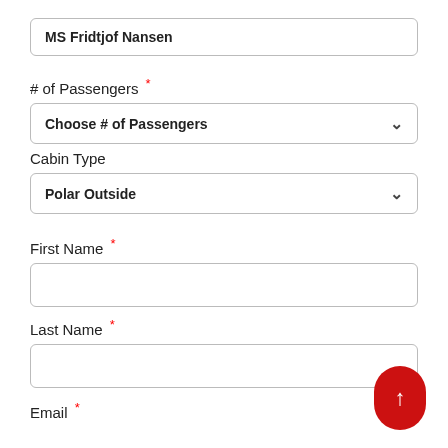MS Fridtjof Nansen
# of Passengers *
Choose # of Passengers
Cabin Type
Polar Outside
First Name *
Last Name *
Email *